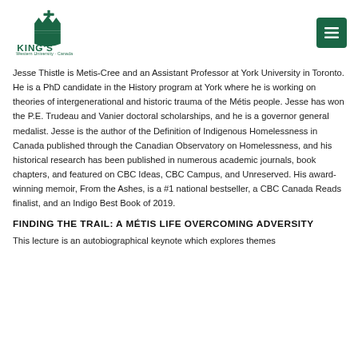King's Western University Canada
Jesse Thistle is Metis-Cree and an Assistant Professor at York University in Toronto. He is a PhD candidate in the History program at York where he is working on theories of intergenerational and historic trauma of the Métis people. Jesse has won the P.E. Trudeau and Vanier doctoral scholarships, and he is a governor general medalist. Jesse is the author of the Definition of Indigenous Homelessness in Canada published through the Canadian Observatory on Homelessness, and his historical research has been published in numerous academic journals, book chapters, and featured on CBC Ideas, CBC Campus, and Unreserved. His award-winning memoir, From the Ashes, is a #1 national bestseller, a CBC Canada Reads finalist, and an Indigo Best Book of 2019.
FINDING THE TRAIL: A MÉTIS LIFE OVERCOMING ADVERSITY
This lecture is an autobiographical keynote which explores themes